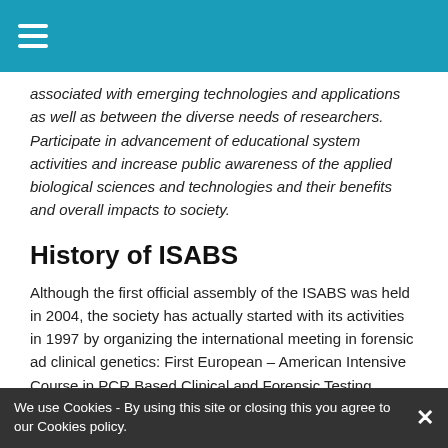associated with emerging technologies and applications as well as between the diverse needs of researchers. Participate in advancement of educational system activities and increase public awareness of the applied biological sciences and technologies and their benefits and overall impacts to society.
History of ISABS
Although the first official assembly of the ISABS was held in 2004, the society has actually started with its activities in 1997 by organizing the international meeting in forensic ad clinical genetics: First European – American Intensive Course in PCR Based Clinical and Forensic Testing.
This Meeting was founded with the aim of promoting the science and Republic of Croatia and since then is organized biennially, leaving a significant impact to the surrounding regions and wider. Their importance is getting higher continuously for the Meetings always offer cutting-edge scientific contents provided by the outstanding leaders in the fields related to the conference program.
From 2003 meetings were organized in collaboration with Mayo Clinic (Rochester, Minnesota, USA) and University of Zagreb through the approved program Mayo Clinic College of Medicine-
We use Cookies - By using this site or closing this you agree to our Cookies policy.